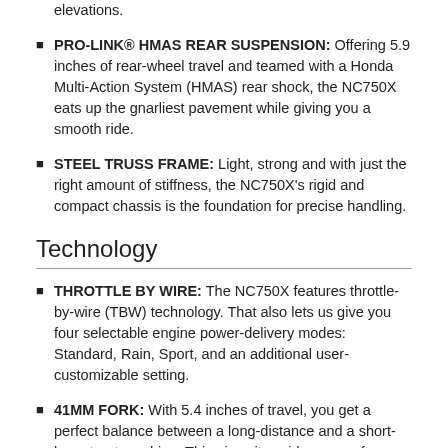PRO-LINK® HMAS REAR SUSPENSION: Offering 5.9 inches of rear-wheel travel and teamed with a Honda Multi-Action System (HMAS) rear shock, the NC750X eats up the gnarliest pavement while giving you a smooth ride.
STEEL TRUSS FRAME: Light, strong and with just the right amount of stiffness, the NC750X's rigid and compact chassis is the foundation for precise handling.
Technology
THROTTLE BY WIRE: The NC750X features throttle-by-wire (TBW) technology. That also lets us give you four selectable engine power-delivery modes: Standard, Rain, Sport, and an additional user-customizable setting.
41MM FORK: With 5.4 inches of travel, you get a perfect balance between a long-distance and a short-hop street machine. This gives it a wide range of capability, good handling and helps inspire confidence.
DISC BRAKES WITH COMBINED ABS: Single front and rear disc brakes give the NC750X extra stopping power. No